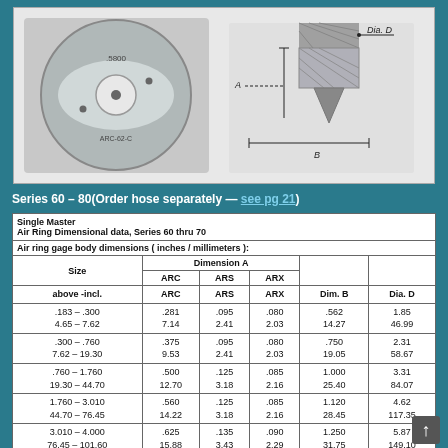[Figure (engineering-diagram): Photo of a circular air ring gage (labeled .5800 and ARC-62-C) on the left, and a cross-section engineering diagram on the right showing Dia. D, dimension A, and dimension B labels with hatching.]
Series 60 – 80(Order hose separately — see pg 21)
| Single Master Air Ring Dimensional data, Series 60 thru 70 |  |  |  |  |  |
| --- | --- | --- | --- | --- | --- |
| Air ring gage body dimensions ( inches / millimeters ): |  |  |  |  |  |
| Size | Dimension A |  |  |  |  |
| above -incl. | ARC | ARS | ARX | Dim. B | Dia. D |
| .183 – .300
4.65 – 7.62 | .281
7.14 | .095
2.41 | .080
2.03 | .562
14.27 | 1.85
46.99 |
| .300 – .760
7.62 – 19.30 | .375
9.53 | .095
2.41 | .080
2.03 | .750
19.05 | 2.31
58.67 |
| .760 – 1.760
19.30 – 44.70 | .500
12.70 | .125
3.18 | .085
2.16 | 1.000
25.40 | 3.31
84.07 |
| 1.760 – 3.010
44.70 – 76.45 | .560
14.22 | .125
3.18 | .085
2.16 | 1.120
28.45 | 4.62
117.35 |
| 3.010 – 4.000
76.45 – 101.60 | .625
15.88 | .135
3.43 | .090
2.29 | 1.250
31.75 | 5.87
149.10 |